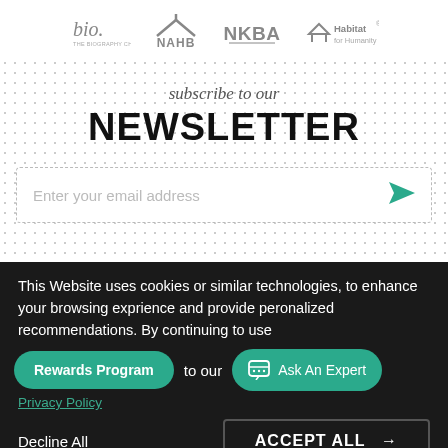[Figure (logo): Four partner logos: bio. (The Biography Channel), NAHB, NKBA, Habitat for Humanity — displayed in gray]
subscribe to our
NEWSLETTER
Enter your email address
This Website uses cookies or similar technologies, to enhance your browsing exprience and provide peronalized recommendations. By continuing to use
to our
Privacy Policy
Rewards Program
Ask An Expert
Decline All
ACCEPT ALL →